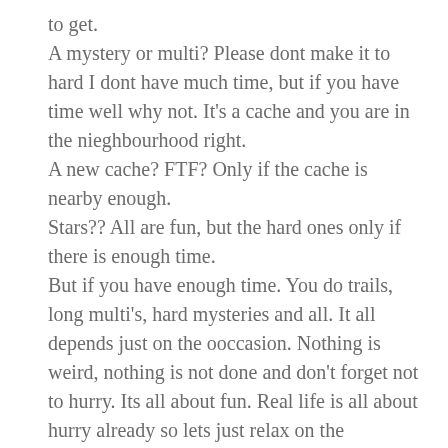to get.
A mystery or multi? Please dont make it to hard I dont have much time, but if you have time well why not. It’s a cache and you are in the nieghbourhood right.
A new cache? FTF? Only if the cache is nearby enough.
Stars?? All are fun, but the hard ones only if there is enough time.
But if you have enough time. You do trails, long multi’s, hard mysteries and all. It all depends just on the ooccasion. Nothing is weird, nothing is not done and don’t forget not to hurry. Its all about fun. Real life is all about hurry already so lets just relax on the geocache.